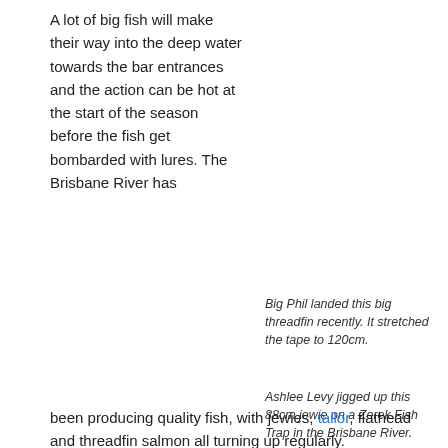A lot of big fish will make their way into the deep water towards the bar entrances and the action can be hot at the start of the season before the fish get bombarded with lures. The Brisbane River has
Big Phil landed this big threadfin recently. It stretched the tape to 120cm.
Ashlee Levy jigged up this 88cm jewie on a Zerek Fish Trap in the Brisbane River.
been producing quality fish, with jewies, tailor, flathead and threadfin salmon all turning up regularly.